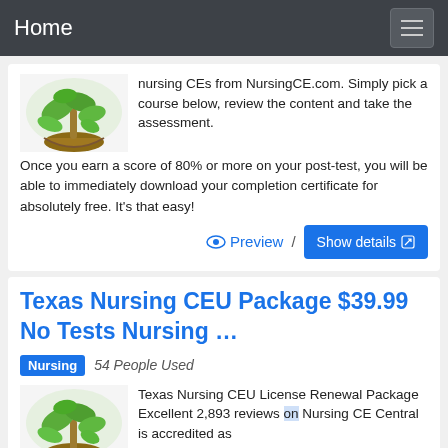Home
nursing CEs from NursingCE.com. Simply pick a course below, review the content and take the assessment. Once you earn a score of 80% or more on your post-test, you will be able to immediately download your completion certificate for absolutely free. It's that easy!
Preview / Show details
Texas Nursing CEU Package $39.99 No Tests Nursing …
Nursing   54 People Used
Texas Nursing CEU License Renewal Package Excellent 2,893 reviews on Nursing CE Central is accredited as